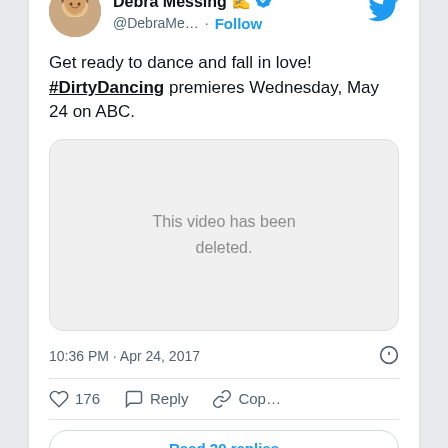[Figure (screenshot): Twitter/X screenshot showing a tweet by Debra Messing with a verified badge, handle @DebraMe..., Follow button, tweet text about #DirtyDancing premiering Wednesday May 24 on ABC, a deleted video placeholder, timestamp 10:36 PM Apr 24 2017, 176 likes, Reply and Copy link actions, and Read 20 replies button]
Get ready to dance and fall in love! #DirtyDancing premieres Wednesday, May 24 on ABC.
This video has been deleted.
10:36 PM · Apr 24, 2017
176  Reply  Cop...
Read 20 replies